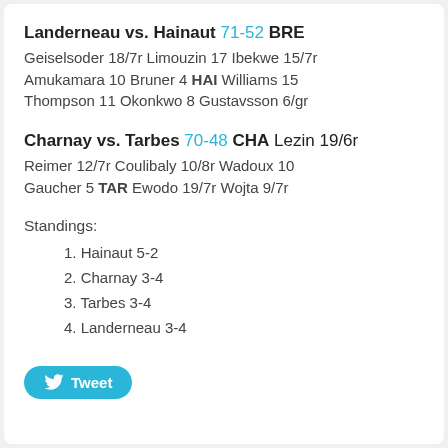Landerneau vs. Hainaut 71-52 BRE Geiselsoder 18/7r Limouzin 17 Ibekwe 15/7r Amukamara 10 Bruner 4 HAI Williams 15 Thompson 11 Okonkwo 8 Gustavsson 6/gr
Charnay vs. Tarbes 70-48 CHA Lezin 19/6r Reimer 12/7r Coulibaly 10/8r Wadoux 10 Gaucher 5 TAR Ewodo 19/7r Wojta 9/7r
Standings:
1. Hainaut 5-2
2. Charnay 3-4
3. Tarbes 3-4
4. Landerneau 3-4